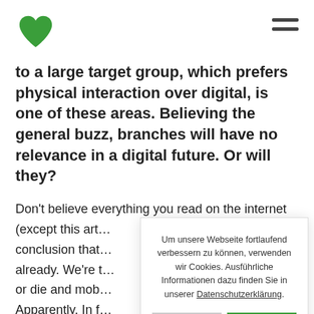[Green heart logo] [Hamburger menu]
to a large target group, which prefers physical interaction over digital, is one of these areas. Believing the general buzz, branches will have no relevance in a digital future. Or will they?
Don't believe everything you read on the internet (except this art… conclusion that… already. We're t… or die and mob… Apparently. In f… solutions for their financial needs, yet they don't
Um unsere Webseite fortlaufend verbessern zu können, verwenden wir Cookies. Ausführliche Informationen dazu finden Sie in unserer Datenschutzerklärung.
[Alles ablehnen] [Cookies zulassen]